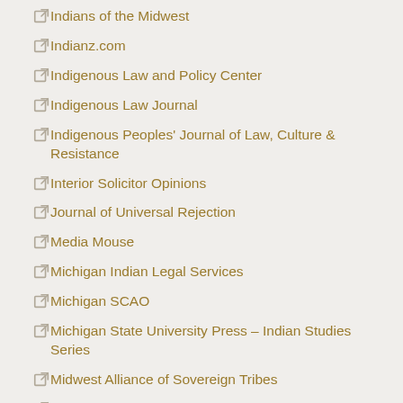Indians of the Midwest
Indianz.com
Indigenous Law and Policy Center
Indigenous Law Journal
Indigenous Peoples' Journal of Law, Culture & Resistance
Interior Solicitor Opinions
Journal of Universal Rejection
Media Mouse
Michigan Indian Legal Services
Michigan SCAO
Michigan State University Press – Indian Studies Series
Midwest Alliance of Sovereign Tribes
MSU Extension